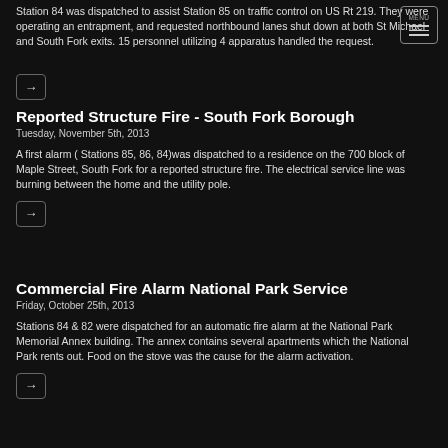Station 84 was dispatched to assist Station 85 on traffic control on US Rt 219. They were operating an entrapment, and requested northbound lanes shut down at both St Michael and South Fork exits. 15 personnel utilizing 4 apparatus handled the request.
Reported Structure Fire - South Fork Borough
Tuesday, November 5th, 2013
A first alarm ( Stations 85, 86, 84)was dispatched to a residence on the 700 block of Maple Street, South Fork for a reported structure fire. The electrical service line was burning between the home and the utility pole.
Commercial Fire Alarm National Park Service
Friday, October 25th, 2013
Stations 84 & 82 were dispatched for an automatic fire alarm at the National Park Memorial Annex building. The annex contains several apartments which the National Park rents out. Food on the stove was the cause for the alarm activation.